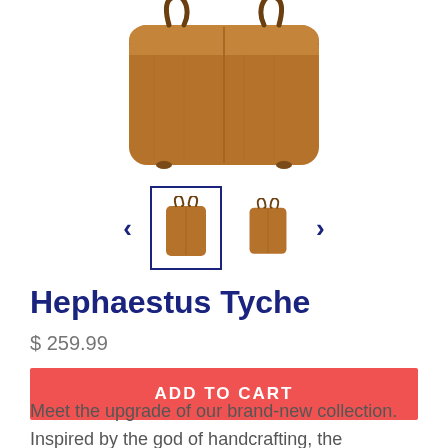[Figure (photo): Brown leather tote bag shown from the front, sitting on a white background. The bag has a wide rectangular shape with two shoulder straps and visible stitching seams.]
[Figure (photo): Thumbnail gallery with two small images of the brown leather tote bag, flanked by left and right navigation arrows. The first thumbnail is highlighted with a dark blue border.]
Hephaestus Tyche
$ 259.99
ADD TO CART
Meet the upgrade of our brand-new collection. Inspired by the god of handcrafting, the Hephaestus bags will elevate your style anywhere you go while